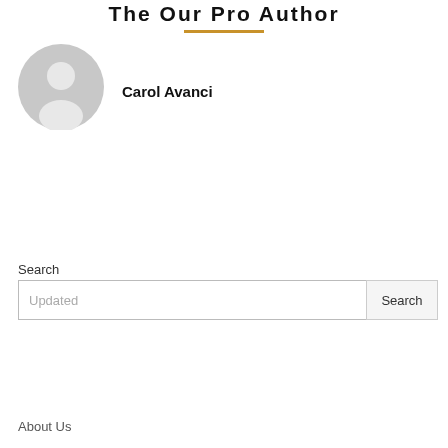The Our Pro Author
[Figure (illustration): Generic grey avatar/profile icon circle]
Carol Avanci
Search
Updated
Search
About Us